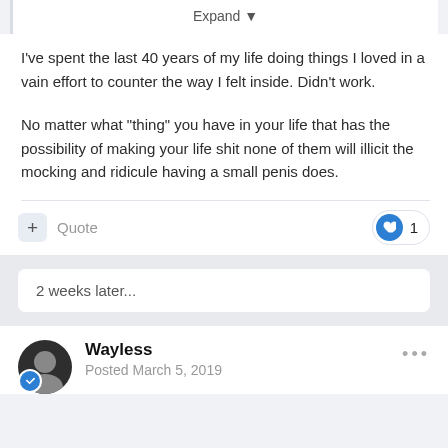Expand
I've spent the last 40 years of my life doing things I loved in a vain effort to counter the way I felt inside. Didn't work.
No matter what "thing" you have in your life that has the possibility of making your life shit none of them will illicit the mocking and ridicule having a small penis does.
+ Quote
❤ 1
2 weeks later...
Wayless
Posted March 5, 2019